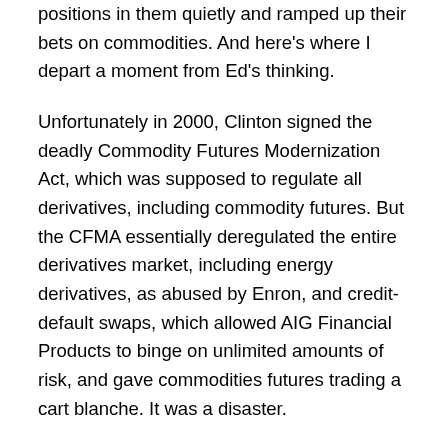positions in them quietly and ramped up their bets on commodities. And here's where I depart a moment from Ed's thinking.
Unfortunately in 2000, Clinton signed the deadly Commodity Futures Modernization Act, which was supposed to regulate all derivatives, including commodity futures. But the CFMA essentially deregulated the entire derivatives market, including energy derivatives, as abused by Enron, and credit-default swaps, which allowed AIG Financial Products to binge on unlimited amounts of risk, and gave commodities futures trading a cart blanche. It was a disaster.
Enron became the largest corporate fraud in history, while AIG's bailout cost U.S. taxpayers hundreds of billions of dollars that were desperately needed elsewhere. But the most pernicious effect of the CFMA wasn't so much